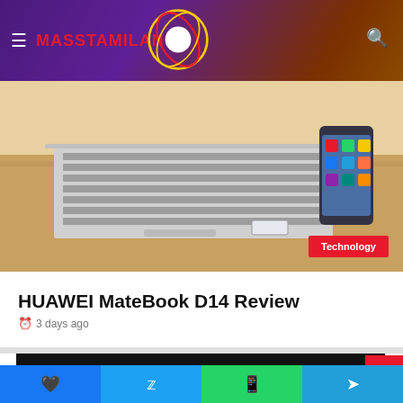MASSTAMILAN
[Figure (photo): Laptop and smartphone on a wooden desk with ring light in background. Technology badge overlay bottom right.]
HUAWEI MateBook D14 Review
3 days ago
Cetegories
All
Apps
Facebook  Twitter  WhatsApp  Telegram